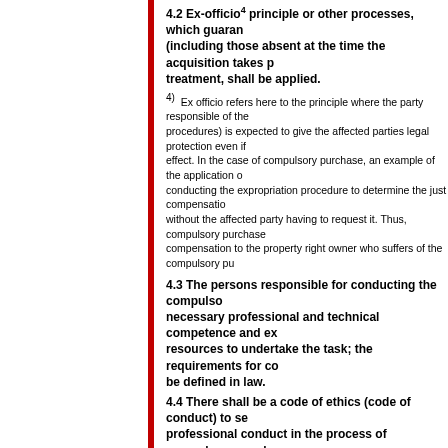4.2 Ex-officio⁴ principle or other processes, which guarantee (including those absent at the time the acquisition takes place) that treatment, shall be applied.
4) Ex officio refers here to the principle where the party responsible of the procedures) is expected to give the affected parties legal protection even if effect. In the case of compulsory purchase, an example of the application of conducting the expropriation procedure to determine the just compensation without the affected party having to request it. Thus, compulsory purchase compensation to the property right owner who suffers of the compulsory pu
4.3 The persons responsible for conducting the compulsory necessary professional and technical competence and experience; resources to undertake the task; the requirements for competence shall be defined in law.
4.4 There shall be a code of ethics (code of conduct) to set standards for professional conduct in the process of compulsory purchase and compensation.
This recommendation lays out general requirements concerning the implementation of the compulsory purchase process as well as qualification requirements and ethical standards for conducting the process.
Firstly, the body conducting the compulsory purchase procedure shou